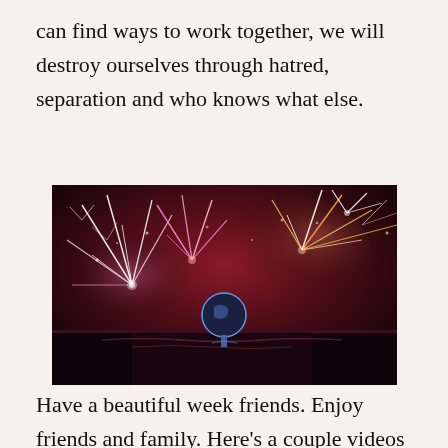can find ways to work together, we will destroy ourselves through hatred, separation and who knows what else.
[Figure (photo): Night fireworks display over water with a large illuminated globe structure visible in the background. Colorful fireworks streaks in pink, white, and orange light up the dark sky with smoke and reflections on the water below.]
Have a beautiful week friends. Enjoy friends and family. Here's a couple videos of a few songs I love